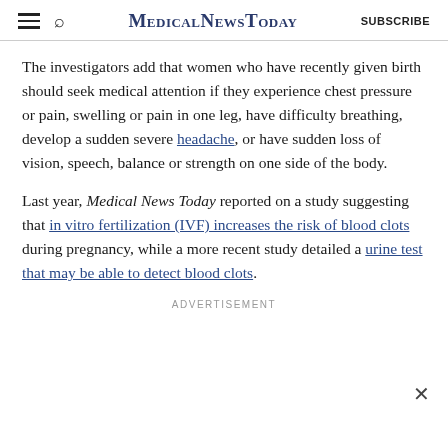MedicalNewsToday SUBSCRIBE
The investigators add that women who have recently given birth should seek medical attention if they experience chest pressure or pain, swelling or pain in one leg, have difficulty breathing, develop a sudden severe headache, or have sudden loss of vision, speech, balance or strength on one side of the body.
Last year, Medical News Today reported on a study suggesting that in vitro fertilization (IVF) increases the risk of blood clots during pregnancy, while a more recent study detailed a urine test that may be able to detect blood clots.
ADVERTISEMENT